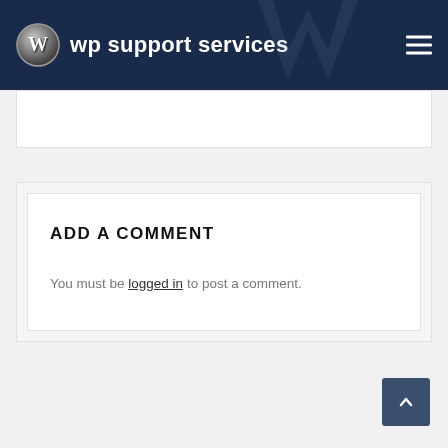wp support services
ADD A COMMENT
You must be logged in to post a comment.